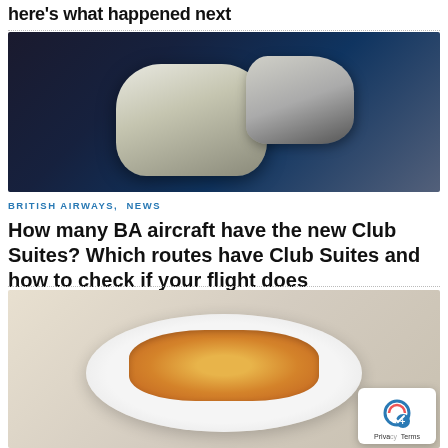here's what happened next
[Figure (photo): British Airways Club Suites aircraft seat interior photo, showing a modern flat-bed business class seat in dark tones with light grey/white elements]
BRITISH AIRWAYS, NEWS
How many BA aircraft have the new Club Suites? Which routes have Club Suites and how to check if your flight does
[Figure (photo): A plate of food with rice and a main course garnished with herbs, served on a white round plate against a grey background]